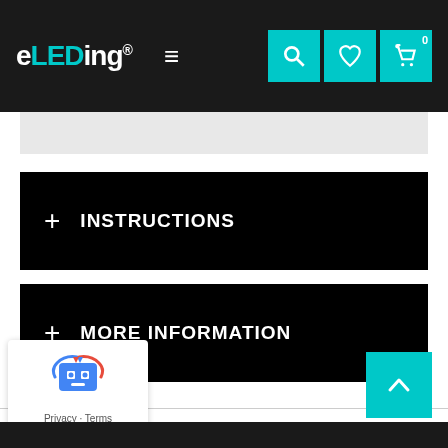eLEDing® navigation header with logo, hamburger menu, search, wishlist, and cart icons
+ INSTRUCTIONS
+ MORE INFORMATION
[Figure (logo): reCAPTCHA badge with robot icon, Privacy and Terms links]